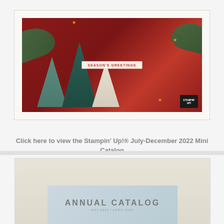[Figure (photo): A decorative Christmas card featuring Christmas trees in teal and white colors against a deep red background with pine branches, gold stars, ribbon, and a 'SEASON'S GREETINGS' banner. Stampin' Up! logo visible in bottom right corner.]
Click here to view the Stampin' Up!® July-December 2022 Mini Catalog
[Figure (photo): Partial view of the Stampin' Up! Annual Catalog cover, showing a light blue/grey rectangular element on a cream/beige background with text 'ANNUAL CATALOG' and subtitle text below.]